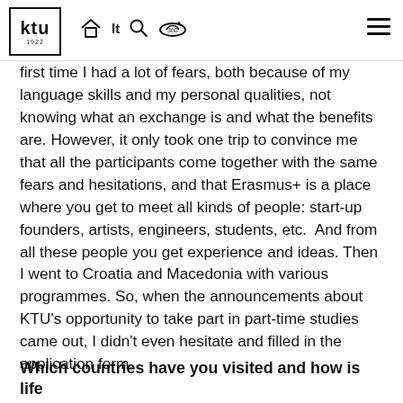KTU 1922 [navigation icons: home, lt, search, 360] [hamburger menu]
first time I had a lot of fears, both because of my language skills and my personal qualities, not knowing what an exchange is and what the benefits are. However, it only took one trip to convince me that all the participants come together with the same fears and hesitations, and that Erasmus+ is a place where you get to meet all kinds of people: start-up founders, artists, engineers, students, etc.  And from all these people you get experience and ideas. Then I went to Croatia and Macedonia with various programmes. So, when the announcements about KTU’s opportunity to take part in part-time studies came out, I didn’t even hesitate and filled in the application form.
Which countries have you visited and how is life